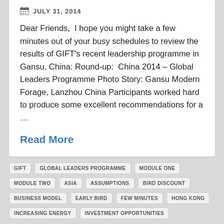JULY 31, 2014
Dear Friends,  I hope you might take a few minutes out of your busy schedules to review the results of GIFT's recent leadership programme in Gansu, China: Round-up:  China 2014 – Global Leaders Programme Photo Story: Gansu Modern Forage, Lanzhou China Participants worked hard to produce some excellent recommendations for a …
Read More
GIFT
GLOBAL LEADERS PROGRAMME
MODULE ONE
MODULE TWO
ASIA
ASSUMPTIONS
BIRD DISCOUNT
BUSINESS MODEL
EARLY BIRD
FEW MINUTES
HONG KONG
INCREASING ENERGY
INVESTMENT OPPORTUNITIES